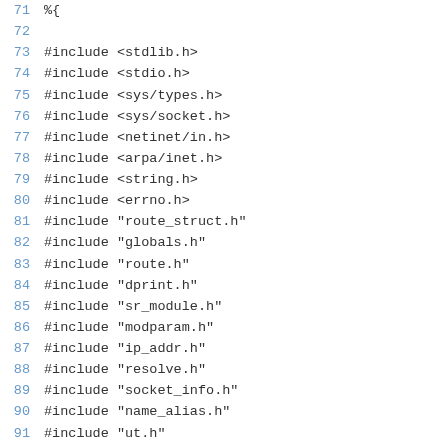Source code listing lines 71–99, showing C #include directives and preprocessor conditionals